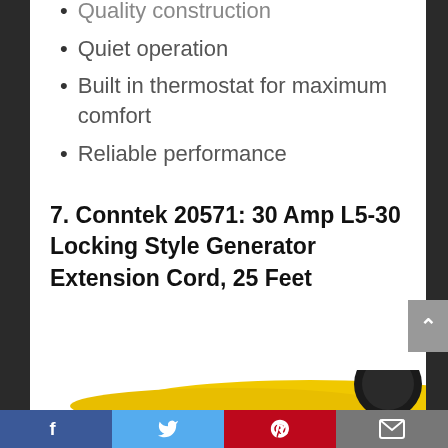Quality construction
Quiet operation
Built in thermostat for maximum comfort
Reliable performance
7. Conntek 20571: 30 Amp L5-30 Locking Style Generator Extension Cord, 25 Feet
[Figure (photo): Yellow generator extension cord with black locking connector, partially visible at bottom of page]
Facebook | Twitter | Pinterest | Email social sharing bar